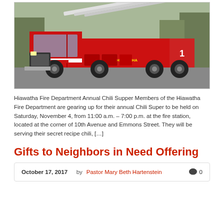[Figure (photo): Red Hiawatha Fire Department ladder truck parked outdoors, trees visible in background]
Hiawatha Fire Department Annual Chili Supper Members of the Hiawatha Fire Department are gearing up for their annual Chili Super to be held on Saturday, November 4, from 11:00 a.m. – 7:00 p.m. at the fire station, located at the corner of 10th Avenue and Emmons Street. They will be serving their secret recipe chili, […]
Gifts to Neighbors in Need Offering
October 17, 2017   by Pastor Mary Beth Hartenstein  0